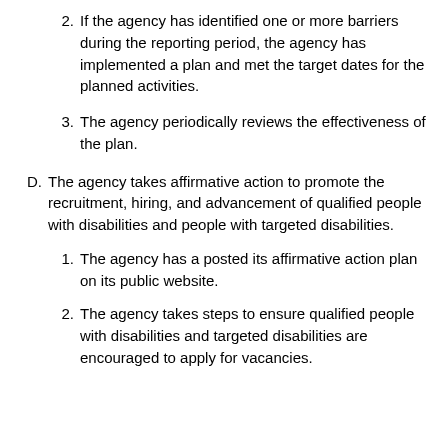2. If the agency has identified one or more barriers during the reporting period, the agency has implemented a plan and met the target dates for the planned activities.
3. The agency periodically reviews the effectiveness of the plan.
D. The agency takes affirmative action to promote the recruitment, hiring, and advancement of qualified people with disabilities and people with targeted disabilities.
1. The agency has a posted its affirmative action plan on its public website.
2. The agency takes steps to ensure qualified people with disabilities and targeted disabilities are encouraged to apply for vacancies.